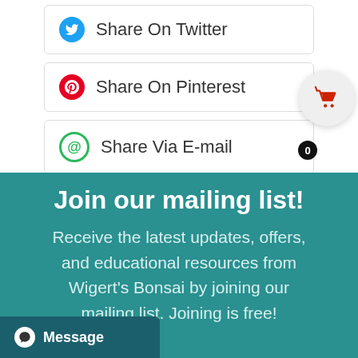Share On Twitter
Share On Pinterest
Share Via E-mail
[Figure (infographic): Shopping cart icon with badge showing count 0]
Join our mailing list!
Receive the latest updates, offers, and educational resources from Wigert's Bonsai by joining our mailing list. Joining is free!
Message